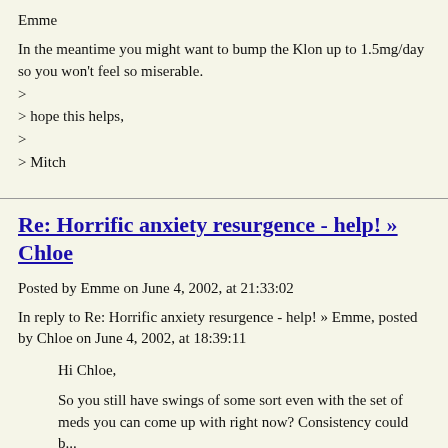Emme
In the meantime you might want to bump the Klon up to 1.5mg/day so you won't feel so miserable.
>
> hope this helps,
>
> Mitch
Re: Horrific anxiety resurgence - help! » Chloe
Posted by Emme on June 4, 2002, at 21:33:02
In reply to Re: Horrific anxiety resurgence - help! » Emme, posted by Chloe on June 4, 2002, at 18:39:11
Hi Chloe,
So you still have swings of some sort even with the set of meds you can come up with right now? Consistency could b...